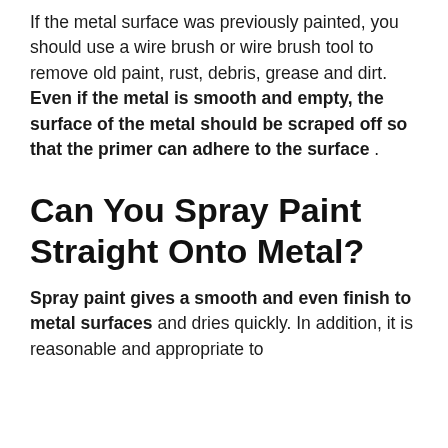If the metal surface was previously painted, you should use a wire brush or wire brush tool to remove old paint, rust, debris, grease and dirt. Even if the metal is smooth and empty, the surface of the metal should be scraped off so that the primer can adhere to the surface .
Can You Spray Paint Straight Onto Metal?
Spray paint gives a smooth and even finish to metal surfaces and dries quickly. In addition, it is reasonable and appropriate to